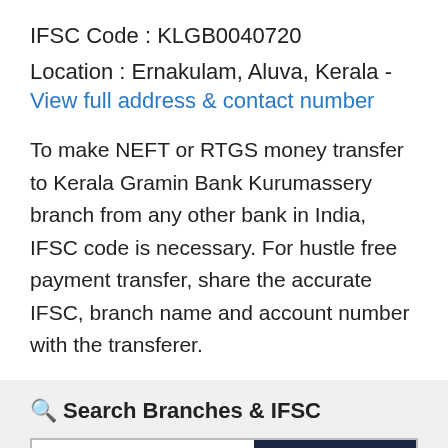IFSC Code : KLGB0040720
Location : Ernakulam, Aluva, Kerala - View full address & contact number
To make NEFT or RTGS money transfer to Kerala Gramin Bank Kurumassery branch from any other bank in India, IFSC code is necessary. For hustle free payment transfer, share the accurate IFSC, branch name and account number with the transferer.
Search Branches & IFSC
Google Custom Search | Search
Upcoming Bank Holidays